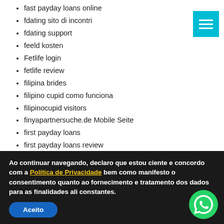fast payday loans online
fdating sito di incontri
fdating support
feeld kosten
Fetlife login
fetlife review
filipina brides
filipino cupid como funciona
filipinocupid visitors
finyapartnersuche.de Mobile Seite
first payday loans
first payday loans review
Free Drivers for Windows
Free Windows Drivers
Fuckbook login
fuckbookhookup avis
FuckOnCam Real Sex Chat
fuckswipe review
furfling review
Ao continuar navegando, declaro que estou ciente e concordo com a Política de Privacidade bem como manifesto o consentimento quanto ao fornecimento e tratamento dos dados para as finalidades ali constantes.
Aceito